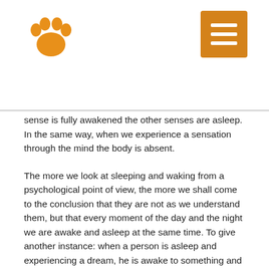[Paw logo and menu button]
sense is fully awakened the other senses are asleep. In the same way, when we experience a sensation through the mind the body is absent.
The more we look at sleeping and waking from a psychological point of view, the more we shall come to the conclusion that they are not as we understand them, but that every moment of the day and the night we are awake and asleep at the same time. To give another instance: when a person is asleep and experiencing a dream, he is awake to something and yet asleep to the outer things. To one world he is asleep, to the other awake. So one is always asleep and always awake.
According to the ideas of the mystics there are five stages